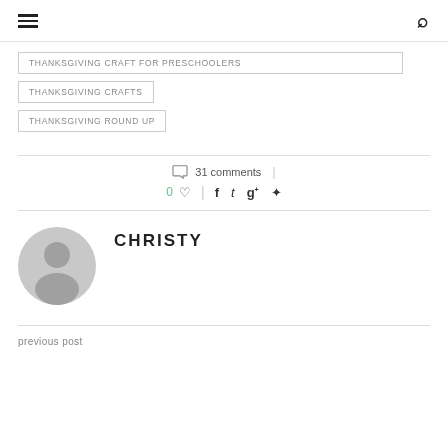Navigation menu and search icon
THANKSGIVING CRAFT FOR PRESCHOOLERS
THANKSGIVING CRAFTS
THANKSGIVING ROUND UP
31 comments
0 likes, share icons: facebook, twitter, google+, pinterest
CHRISTY
previous post